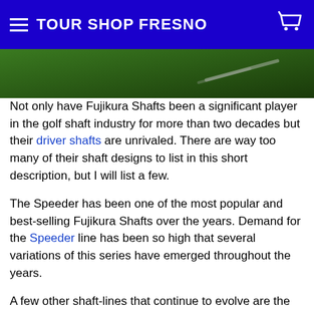TOUR SHOP FRESNO
[Figure (photo): Close-up green background with a golf shaft visible, partial banner image]
Not only have Fujikura Shafts been a significant player in the golf shaft industry for more than two decades but their driver shafts are unrivaled. There are way too many of their shaft designs to list in this short description, but I will list a few.
The Speeder has been one of the most popular and best-selling Fujikura Shafts over the years. Demand for the Speeder line has been so high that several variations of this series have emerged throughout the years.
A few other shaft-lines that continue to evolve are the Pro Series and the ATMOS. Both of these lines of Fujikura shafts released new versions just this year. The ATMOS originally started as a Tour Spec model, and the Pro series just launched the Pro 2.0 recently.